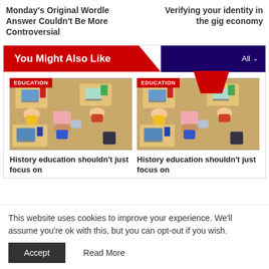Monday's Original Wordle Answer Couldn't Be More Controversial
Verifying your identity in the gig economy
You Might Also Like
[Figure (photo): Overhead view of students working at desks with laptops and colorful books, labeled EDUCATION]
History education shouldn't just focus on
[Figure (photo): Overhead view of students working at desks with laptops and colorful books, labeled EDUCATION]
History education shouldn't just focus on
This website uses cookies to improve your experience. We'll assume you're ok with this, but you can opt-out if you wish.